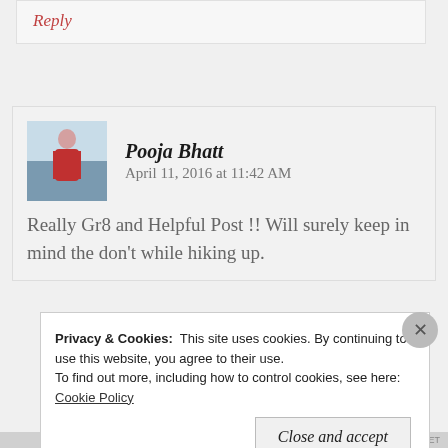Reply
[Figure (photo): Avatar photo of Pooja Bhatt, a person in a red dress on a beach]
Pooja Bhatt   April 11, 2016 at 11:42 AM
Really Gr8 and Helpful Post !! Will surely keep in mind the don't while hiking up.
Privacy & Cookies:  This site uses cookies. By continuing to use this website, you agree to their use.
To find out more, including how to control cookies, see here: Cookie Policy
Close and accept